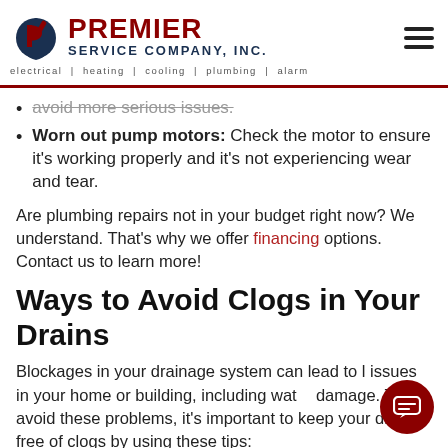PREMIER SERVICE COMPANY, INC. | electrical | heating | cooling | plumbing | alarm
avoid more serious issues. (cut off)
Worn out pump motors: Check the motor to ensure it's working properly and it's not experiencing wear and tear.
Are plumbing repairs not in your budget right now? We understand. That's why we offer financing options. Contact us to learn more!
Ways to Avoid Clogs in Your Drains
Blockages in your drainage system can lead to issues in your home or building, including water damage. To avoid these problems, it's important to keep your drains free of clogs by using these tips: